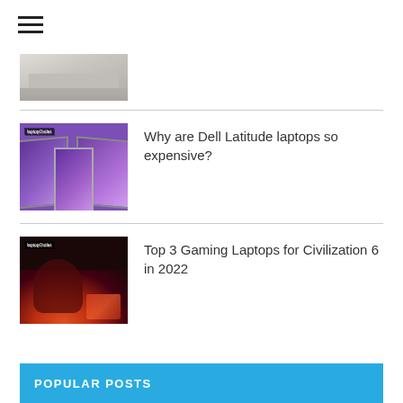[Figure (illustration): Hamburger/menu icon with three horizontal lines]
[Figure (photo): Partial laptop image at top, cropped]
Why are Dell Latitude laptops so expensive?
[Figure (photo): Three Dell Latitude laptops with purple/violet screens displayed side by side]
Top 3 Gaming Laptops for Civilization 6 in 2022
[Figure (photo): Person gaming on laptop in dark room with red/pink ambient lighting]
POPULAR POSTS